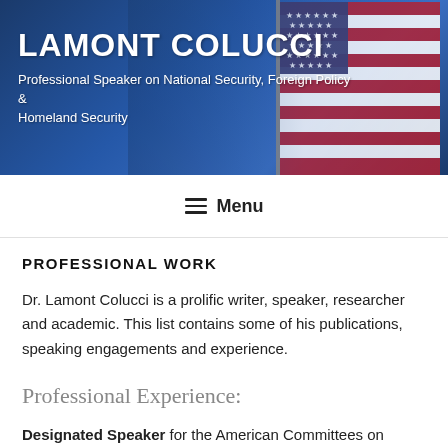[Figure (photo): Header banner with American flag and blue gradient background. Name 'LAMONT COLUCCI' in large white bold text with subtitle 'Professional Speaker on National Security, Foreign Policy & Homeland Security']
≡ Menu
PROFESSIONAL WORK
Dr. Lamont Colucci is a prolific writer, speaker, researcher and academic. This list contains some of his publications, speaking engagements and experience.
Professional Experience:
Designated Speaker for the American Committees on Foreign Relations (ACFR) on U.S. Foreign Policy and U.S.